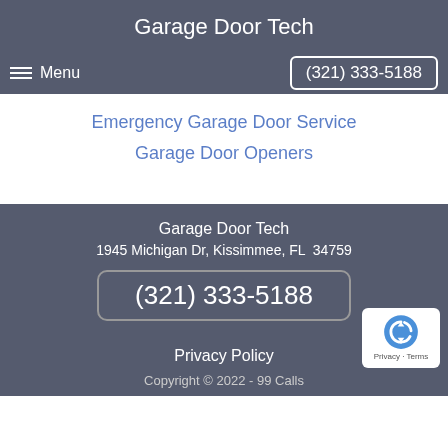Garage Door Tech
Menu  (321) 333-5188
Emergency Garage Door Service
Garage Door Openers
Garage Door Tech
1945 Michigan Dr, Kissimmee, FL  34759
(321) 333-5188
Privacy Policy
Copyright © 2022 - 99 Calls